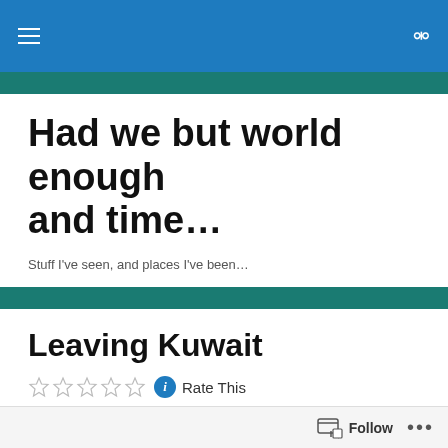Had we but world enough and time...
Had we but world enough and time...
Stuff I've seen, and places I've been...
Leaving Kuwait
Rate This
Saturday 16th June 2007
Hello there all,
Well, leaving Kuwait has been a hell of a drama, as
Follow